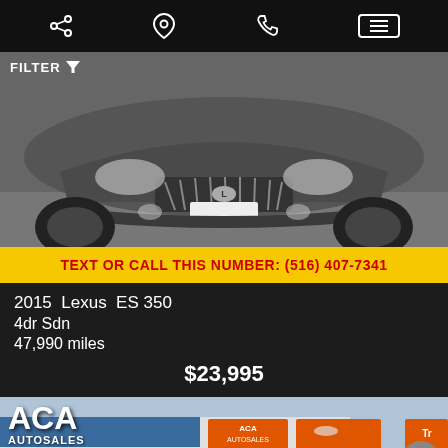Navigation bar with share, location, phone, and menu icons
FILTER
[Figure (photo): Front view of a gray 2015 Lexus ES 350 sedan photographed from above at an angle]
TEXT OR CALL THIS NUMBER: (516) 407-7341
2015  Lexus  ES 350
4dr Sdn
47,990 miles
$23,995
[Figure (photo): ACA Autosales dealership storefront with orange signs, phone number 516-561-3300, and Credit Approval Guaranteed signage]